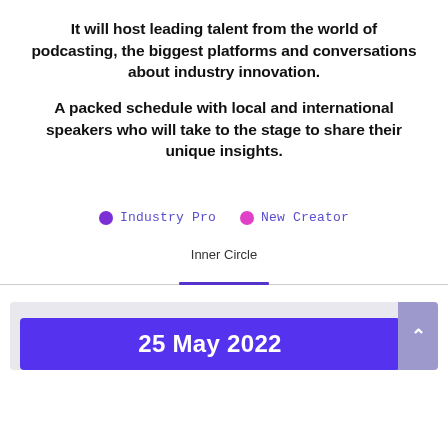It will host leading talent from the world of podcasting, the biggest platforms and conversations about industry innovation.
A packed schedule with local and international speakers who will take to the stage to share their unique insights.
Industry Pro  New Creator
Inner Circle
25 May 2022